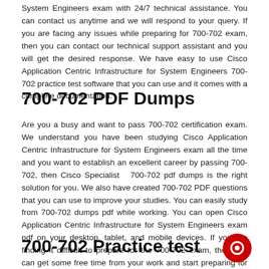System Engineers exam with 24/7 technical assistance. You can contact us anytime and we will respond to your query. If you are facing any issues while preparing for 700-702 exam, then you can contact our technical support assistant and you will get the desired response. We have easy to use Cisco Application Centric Infrastructure for System Engineers 700-702 practice test software that you can use and it comes with a complete documentation.
700-702 PDF Dumps
Are you a busy and want to pass 700-702 certification exam. We understand you have been studying Cisco Application Centric Infrastructure for System Engineers exam all the time and you want to establish an excellent career by passing 700-702, then Cisco Specialist  700-702 pdf dumps is the right solution for you. We also have created 700-702 PDF questions that you can use to improve your studies. You can easily study from 700-702 dumps pdf while working. You can open Cisco Application Centric Infrastructure for System Engineers exam pdf on your desktop, tablet, and mobile devices. If you are finding it difficult to prepare for the 700-702 exam, then you can get some free time from your work and start preparing for the 700-702 exam.
700-702 Practice test software for your exam